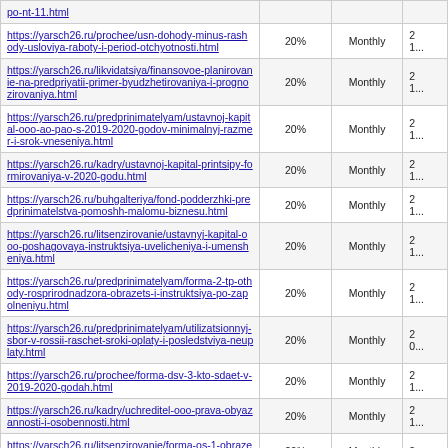| URL | Rate | Frequency | Date |
| --- | --- | --- | --- |
| https://yarsch26.ru/prochee/usn-dohody-minus-rashody-usloviya-raboty-i-period-otchyotnosti.html | 20% | Monthly | 2...1... |
| https://yarsch26.ru/likvidatsiya/finansovoe-planirovanie-na-predpriyatii-primer-byudzhetirovaniya-i-prognozirovaniya.html | 20% | Monthly | 2...1... |
| https://yarsch26.ru/predprinimatelyam/ustavnoj-kapital-ooo-ao-pao-s-2019-2020-godov-minimalnyj-razmer-i-srok-vneseniya.html | 20% | Monthly | 2...1... |
| https://yarsch26.ru/kadry/ustavnoj-kapital-printsipy-formirovaniya-v-2020-godu.html | 20% | Monthly | 2...1... |
| https://yarsch26.ru/buhgalteriya/fond-podderzhki-predprinimatelstva-pomoshh-malomu-biznesu.html | 20% | Monthly | 2...1... |
| https://yarsch26.ru/litsenzirovanie/ustavnyj-kapital-ooo-poshagovaya-instruktsiya-uvelicheniya-i-umensheniya.html | 20% | Monthly | 2...1... |
| https://yarsch26.ru/predprinimatelyam/forma-2-tp-othody-rosprirodnadzora-obrazets-i-instruktsiya-po-zapolneniyu.html | 20% | Monthly | 2...1... |
| https://yarsch26.ru/predprinimatelyam/utilizatsionnyj-sbor-v-rossii-raschet-sroki-oplaty-i-posledstviya-neuplaty.html | 20% | Monthly | 2...0... |
| https://yarsch26.ru/prochee/forma-dsv-3-kto-sdaet-v-2019-2020-godah.html | 20% | Monthly | 2...1... |
| https://yarsch26.ru/kadry/uchreditel-ooo-prava-obyazannosti-i-osobennosti.html | 20% | Monthly | 2...1... |
| https://yarsch26.ru/litsenzirovanie/forma-os-1-obrazets- | 20% | Monthly | 2... |